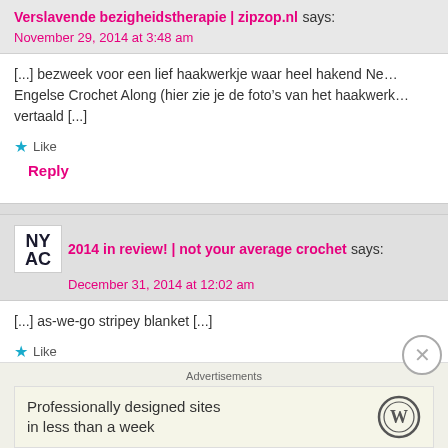Verslavende bezigheidstherapie | zipzop.nl says:
November 29, 2014 at 3:48 am
[...] bezweek voor een lief haakwerkje waar heel hakend Ne... Engelse Crochet Along (hier zie je de foto's van het haakwerk... vertaald [...]
Like
Reply
2014 in review! | not your average crochet says:
December 31, 2014 at 12:02 am
[...] as-we-go stripey blanket [...]
Like
Reply
Advertisements
Professionally designed sites in less than a week